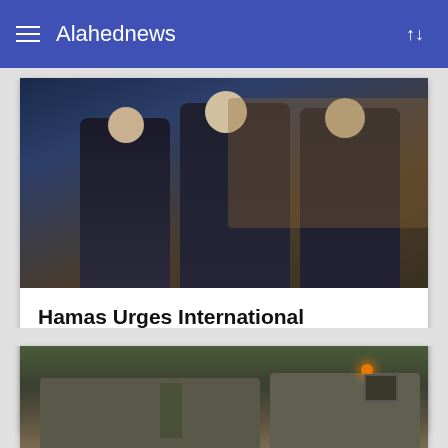Alahednews
[Figure (photo): Two men in suits seated at what appears to be a parliamentary session. The man in the center has grey hair and wears a blue suit; another man sits to his right.]
Hamas Urges International Community to Term ‘Israeli’ Officials as War Criminals
one month ago
[Figure (photo): Military armored vehicles on a street with soldiers nearby. An orange light is visible on one of the vehicles.]